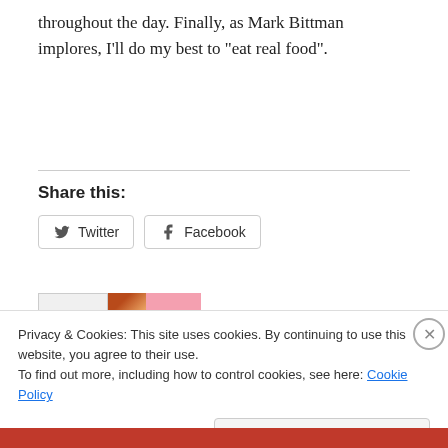throughout the day. Finally, as Mark Bittman implores, I’ll do my best to “eat real food”.
Share this:
Twitter  Facebook
Privacy & Cookies: This site uses cookies. By continuing to use this website, you agree to their use.
To find out more, including how to control cookies, see here: Cookie Policy
Close and accept